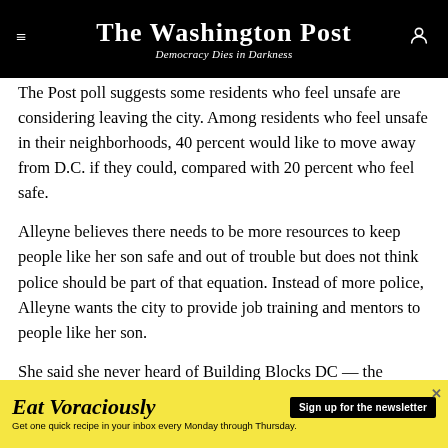The Washington Post — Democracy Dies in Darkness
The Post poll suggests some residents who feel unsafe are considering leaving the city. Among residents who feel unsafe in their neighborhoods, 40 percent would like to move away from D.C. if they could, compared with 20 percent who feel safe.
Alleyne believes there needs to be more resources to keep people like her son safe and out of trouble but does not think police should be part of that equation. Instead of more police, Alleyne wants the city to provide job training and mentors to people like her son.
She said she never heard of Building Blocks DC — the
[Figure (infographic): Yellow advertisement banner for 'Eat Voraciously' newsletter with sign up button and description: Get one quick recipe in your inbox every Monday through Thursday.]